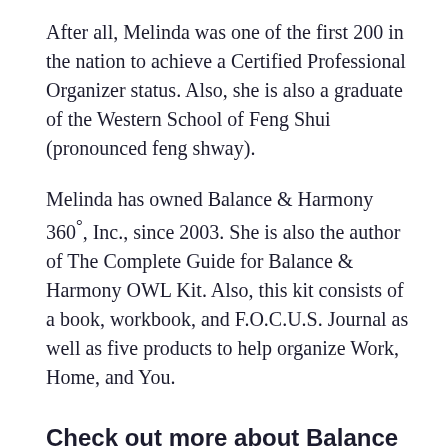After all, Melinda was one of the first 200 in the nation to achieve a Certified Professional Organizer status. Also, she is also a graduate of the Western School of Feng Shui (pronounced feng shway).
Melinda has owned Balance & Harmony 360°, Inc., since 2003. She is also the author of The Complete Guide for Balance & Harmony OWL Kit. Also, this kit consists of a book, workbook, and F.O.C.U.S. Journal as well as five products to help organize Work, Home, and You.
Check out more about Balance & Harmony 360² at: